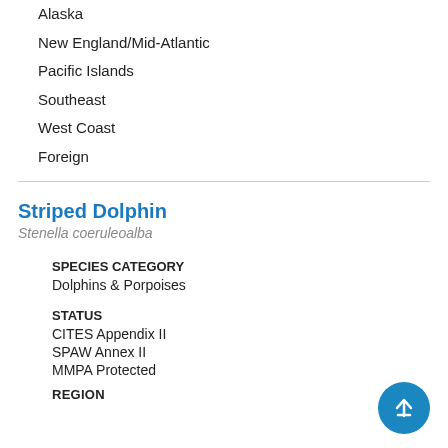Alaska
New England/Mid-Atlantic
Pacific Islands
Southeast
West Coast
Foreign
Striped Dolphin
Stenella coeruleoalba
SPECIES CATEGORY
Dolphins & Porpoises
STATUS
CITES Appendix II
SPAW Annex II
MMPA Protected
REGION